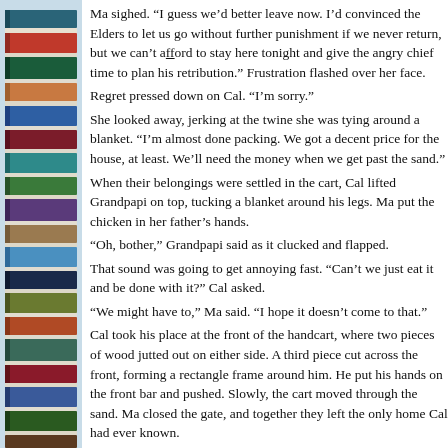[Figure (illustration): Stack of colorful books with blue background on the left margin strip]
Ma sighed. “I guess we’d better leave now. I’d convinced the Elders to let us go without further punishment if we never return, but we can’t afford to stay here tonight and give the angry chief time to plan his retribution.” Frustration flashed over her face.
Regret pressed down on Cal. “I’m sorry.”
She looked away, jerking at the twine she was tying around a blanket. “I’m almost done packing. We got a decent price for the house, at least. We’ll need the money when we get past the sand.”
When their belongings were settled in the cart, Cal lifted Grandpapi on top, tucking a blanket around his legs. Ma put the chicken in her father’s hands.
“Oh, bother,” Grandpapi said as it clucked and flapped.
That sound was going to get annoying fast. “Can’t we just eat it and be done with it?” Cal asked.
“We might have to,” Ma said. “I hope it doesn’t come to that.”
Cal took his place at the front of the handcart, where two pieces of wood jutted out on either side. A third piece cut across the front, forming a rectangle frame around him. He put his hands on the front bar and pushed. Slowly, the cart moved through the sand. Ma closed the gate, and together they left the only home Cal had ever known.